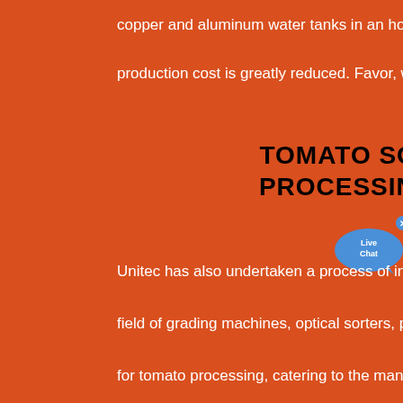copper and aluminum water tanks in an hour. The production cost is greatly reduced. Favor, welcome
TOMATO SORTING, GRADING, PROCESSING MACHINES AND LINES
Unitec has also undertaken a process of innovation in the field of grading machines, optical sorters, plants and lines for tomato processing, catering to the many different varieties. In particular, we developed optical and weight-based sorting systems that can be integrated with automatic quality selection thanks to the TOMATO VISION 3 Unitec Technology.